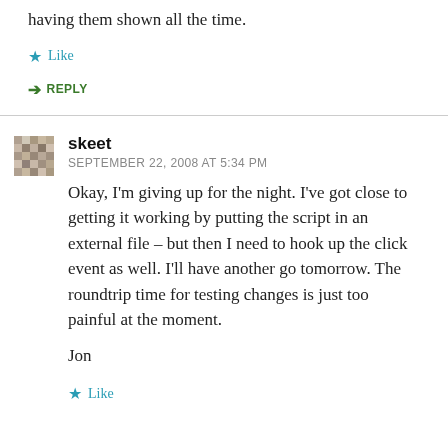having them shown all the time.
Like
REPLY
skeet
SEPTEMBER 22, 2008 AT 5:34 PM
Okay, I'm giving up for the night. I've got close to getting it working by putting the script in an external file – but then I need to hook up the click event as well. I'll have another go tomorrow. The roundtrip time for testing changes is just too painful at the moment.
Jon
Like